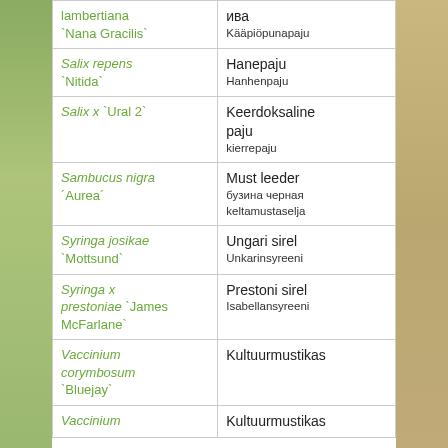| Latin name | Common name |
| --- | --- |
| lambertiana 'Nana Gracilis' | ива
Кääpiöpunapaju |
| Salix repens 'Nitida' | Hanepaju
Hanhenpaju |
| Salix x 'Ural 2' | Keerdoksaline paju
kierrepaju |
| Sambucus nigra 'Aurea' | Must leeder
бузина черная
keltamustaselja |
| Syringa josikae 'Mottsund' | Ungari sirel
Unkarinsyreeni |
| Syringa x prestoniae 'James McFarlane' | Prestoni sirel
Isabellansyreeni |
| Vaccinium corymbosum 'Bluejay' | Kultuurmustikas |
| Vaccinium | Kultuurmustikas |